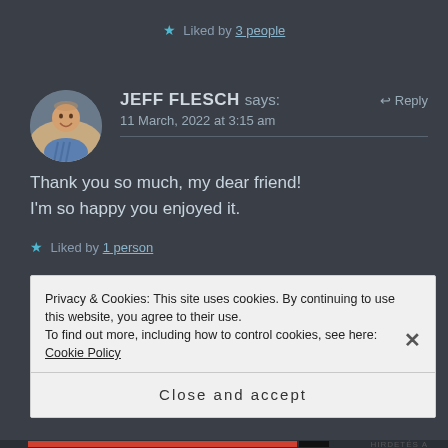★ Liked by 3 people
JEFF FLESCH says:   ↩ Reply
11 March, 2022 at 3:15 am
Thank you so much, my dear friend! I'm so happy you enjoyed it.
★ Liked by 1 person
Privacy & Cookies: This site uses cookies. By continuing to use this website, you agree to their use.
To find out more, including how to control cookies, see here: Cookie Policy
Close and accept